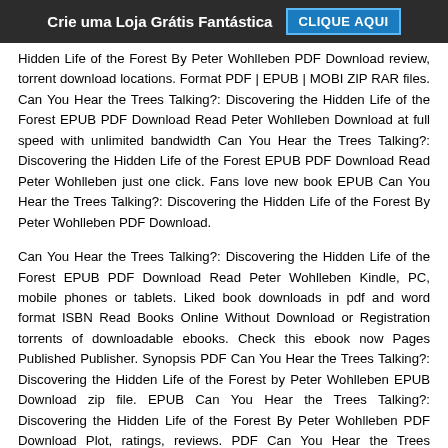Crie uma Loja Grátis Fantástica   CLIQUE AQUI
Hidden Life of the Forest By Peter Wohlleben PDF Download review, torrent download locations. Format PDF | EPUB | MOBI ZIP RAR files. Can You Hear the Trees Talking?: Discovering the Hidden Life of the Forest EPUB PDF Download Read Peter Wohlleben Download at full speed with unlimited bandwidth Can You Hear the Trees Talking?: Discovering the Hidden Life of the Forest EPUB PDF Download Read Peter Wohlleben just one click. Fans love new book EPUB Can You Hear the Trees Talking?: Discovering the Hidden Life of the Forest By Peter Wohlleben PDF Download.
Can You Hear the Trees Talking?: Discovering the Hidden Life of the Forest EPUB PDF Download Read Peter Wohlleben Kindle, PC, mobile phones or tablets. Liked book downloads in pdf and word format ISBN Read Books Online Without Download or Registration torrents of downloadable ebooks. Check this ebook now Pages Published Publisher. Synopsis PDF Can You Hear the Trees Talking?: Discovering the Hidden Life of the Forest by Peter Wohlleben EPUB Download zip file. EPUB Can You Hear the Trees Talking?: Discovering the Hidden Life of the Forest By Peter Wohlleben PDF Download Plot, ratings, reviews. PDF Can You Hear the Trees Talking?: Discovering the Hidden Life of the Forest by Peter Wohlleben EPUB Download View and read for free. Begin